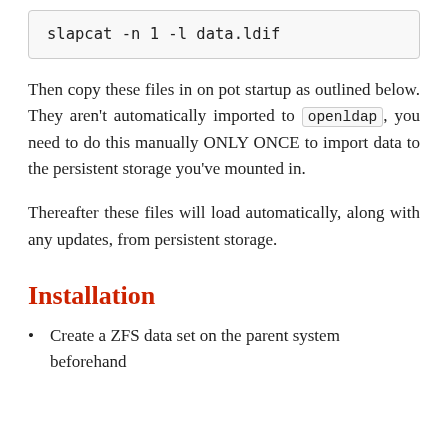slapcat -n 1 -l data.ldif
Then copy these files in on pot startup as outlined below. They aren't automatically imported to openldap, you need to do this manually ONLY ONCE to import data to the persistent storage you've mounted in.
Thereafter these files will load automatically, along with any updates, from persistent storage.
Installation
Create a ZFS data set on the parent system beforehand